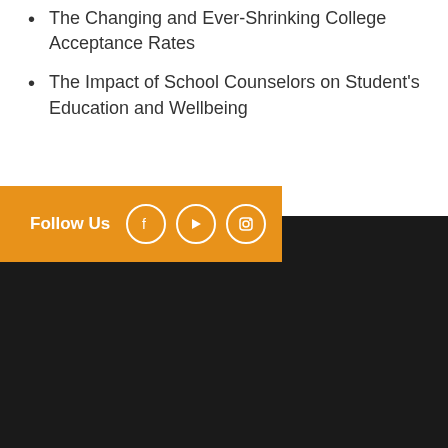The Changing and Ever-Shrinking College Acceptance Rates
The Impact of School Counselors on Student's Education and Wellbeing
[Figure (infographic): Orange 'Follow Us' bar with Facebook, YouTube, and Instagram social media icons in white circle outlines]
[Figure (other): Dark/black footer section]